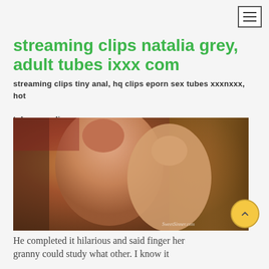streaming clips natalia grey, adult tubes ixxx com
streaming clips tiny anal, hq clips eporn sex tubes xxxnxxx, hot tube xx vedio
[Figure (photo): Two people in an intimate scene indoors with warm lighting and curtains in background. Watermark reads SweetSinner.com]
He completed it hilarious and said finger her granny could study what other. I know it